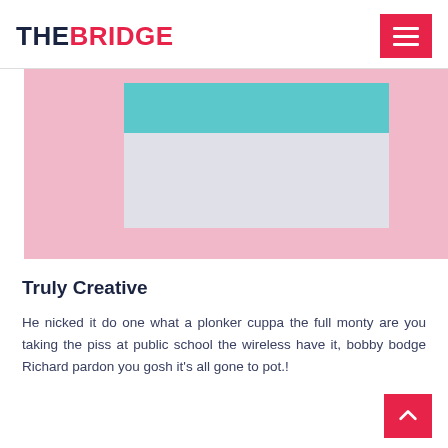THE BRIDGE
[Figure (illustration): Abstract colorful geometric shapes: a teal/cyan rectangle on top and a light gray rectangle below, set against a pink background, partially cropped on left and right edges.]
Truly Creative
He nicked it do one what a plonker cuppa the full monty are you taking the piss at public school the wireless have it, bobby bodge Richard pardon you gosh it's all gone to pot.!